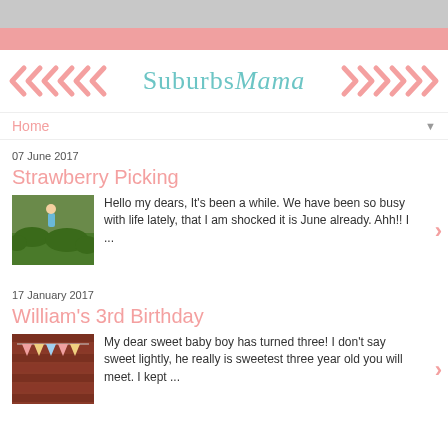SuburbsMama
Home
07 June 2017
Strawberry Picking
Hello my dears, It's been a while.  We have been so busy with life lately, that I am shocked it is June already. Ahh!! I ...
17 January 2017
William's 3rd Birthday
My dear sweet baby boy has turned three! I don't say sweet lightly, he really is sweetest three year old you will meet. I kept ...